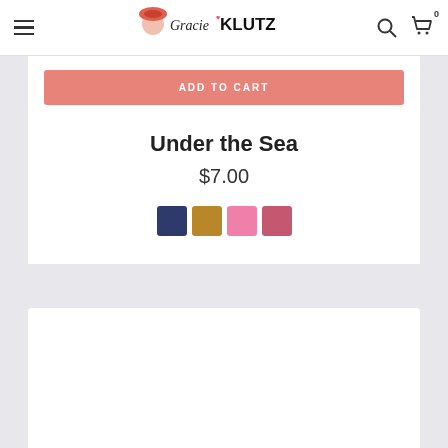Gracie KLUTZ — navigation bar with hamburger menu, logo, search icon, cart (0)
[Figure (screenshot): ADD TO CART button in salmon/coral color]
Under the Sea
$7.00
[Figure (other): Four color swatches: navy blue, gold/mustard, light pink, dark pink/rose]